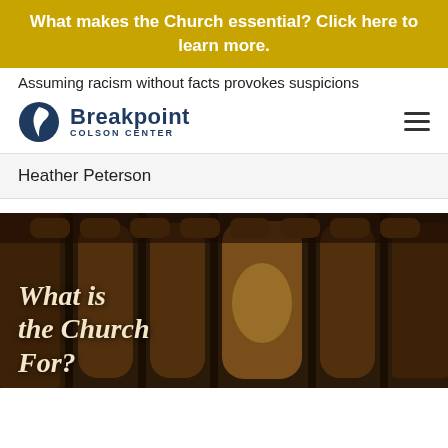What makes the Church essential? Click here to learn more.
Assuming racism without facts provokes suspicions
[Figure (logo): Breakpoint Colson Center logo with dark blue crescent moon icon and bold text]
Heather Peterson
[Figure (photo): Photo of wooden church pews with overlay text reading 'What is the Church For?' in italic serif font]